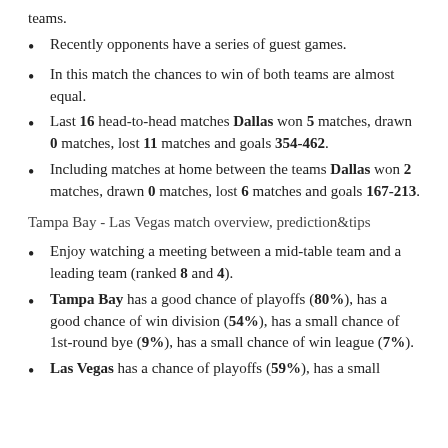teams.
Recently opponents have a series of guest games.
In this match the chances to win of both teams are almost equal.
Last 16 head-to-head matches Dallas won 5 matches, drawn 0 matches, lost 11 matches and goals 354-462.
Including matches at home between the teams Dallas won 2 matches, drawn 0 matches, lost 6 matches and goals 167-213.
Tampa Bay - Las Vegas match overview, prediction&tips
Enjoy watching a meeting between a mid-table team and a leading team (ranked 8 and 4).
Tampa Bay has a good chance of playoffs (80%), has a good chance of win division (54%), has a small chance of 1st-round bye (9%), has a small chance of win league (7%).
Las Vegas has a chance of playoffs (59%), has a small...